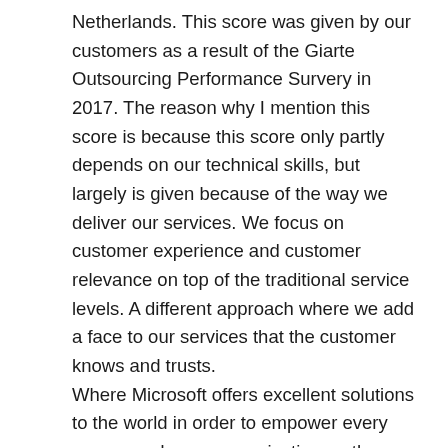Netherlands. This score was given by our customers as a result of the Giarte Outsourcing Performance Survery in 2017. The reason why I mention this score is because this score only partly depends on our technical skills, but largely is given because of the way we deliver our services. We focus on customer experience and customer relevance on top of the traditional service levels. A different approach where we add a face to our services that the customer knows and trusts. Where Microsoft offers excellent solutions to the world in order to empower every person and every organization on the planet to achieve more, I truly believe that they need us (you and me) to do so. Microsoft offers a great foundation for us as partners to empower our customers, but also our